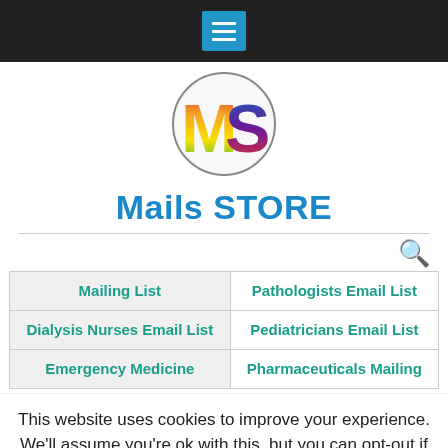Navigation menu bar with hamburger icon
[Figure (logo): Circular logo with colorful 'MS' letters in red, green, blue and orange colors]
Mails STORE
| Mailing List | Pathologists Email List |
| Dialysis Nurses Email List | Pediatricians Email List |
| Emergency Medicine | Pharmaceuticals Mailing |
This website uses cookies to improve your experience. We'll assume you're ok with this, but you can opt-out if you wish.
Accept  Reject  Read More